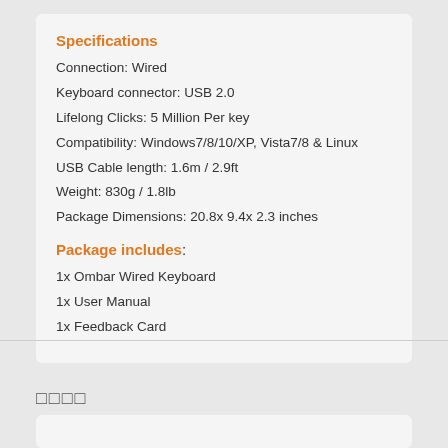Specifications
Connection: Wired
Keyboard connector: USB 2.0
Lifelong Clicks: 5 Million Per key
Compatibility: Windows7/8/10/XP, Vista7/8 & Linux
USB Cable length: 1.6m / 2.9ft
Weight: 830g / 1.8lb
Package Dimensions: 20.8x 9.4x 2.3 inches
Package includes:
1x Ombar Wired Keyboard
1x User Manual
1x Feedback Card
□□□□